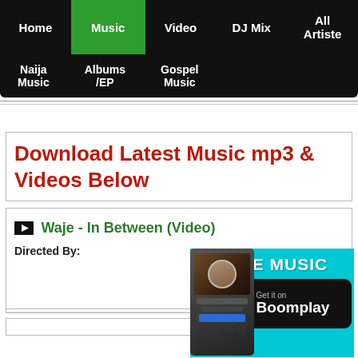Home | Music | Video | DJ Mix | All Artiste | Naija Music | Albums /EP | Gospel Music
Download Latest Music mp3 & Videos Below
Waje - In Between (Video)
Directed By:
[Figure (screenshot): Boomplay advertisement banner with phone screenshot of Burna Boy, FREE MUSIC text, and Get it on Boomplay button on cyan background]